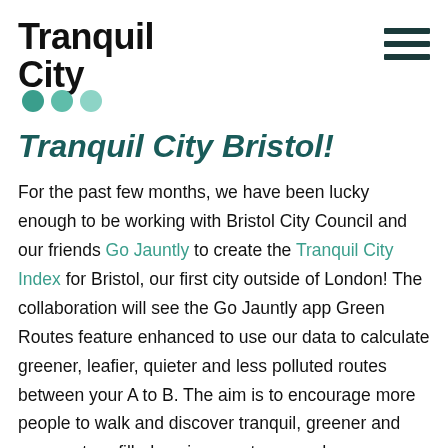Tranquil City [logo with teal dots] [hamburger menu]
Tranquil City Bristol!
For the past few months, we have been lucky enough to be working with Bristol City Council and our friends Go Jauntly to create the Tranquil City Index for Bristol, our first city outside of London! The collaboration will see the Go Jauntly app Green Routes feature enhanced to use our data to calculate greener, leafier, quieter and less polluted routes between your A to B. The aim is to encourage more people to walk and discover tranquil, greener and more nature-filled environments every day.